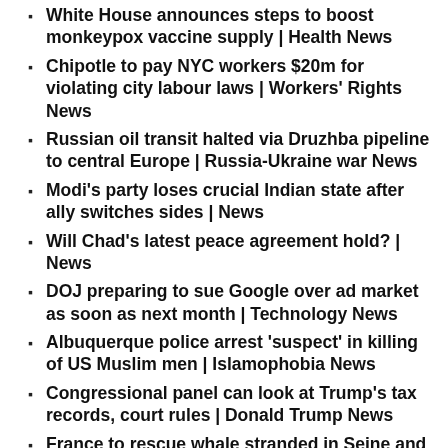White House announces steps to boost monkeypox vaccine supply | Health News
Chipotle to pay NYC workers $20m for violating city labour laws | Workers' Rights News
Russian oil transit halted via Druzhba pipeline to central Europe | Russia-Ukraine war News
Modi's party loses crucial Indian state after ally switches sides | News
Will Chad's latest peace agreement hold? | News
DOJ preparing to sue Google over ad market as soon as next month | Technology News
Albuquerque police arrest 'suspect' in killing of US Muslim men | Islamophobia News
Congressional panel can look at Trump's tax records, court rules | Donald Trump News
France to rescue whale stranded in Seine and send it to saltwater | Wildlife News
Republicans slam FBI search of Trump's home; Democrats cautious | Donald Trump News
At least 15 soldiers killed in northern Burkina Faso blasts: Army | News
Last month was one of the warmest Julys on record,